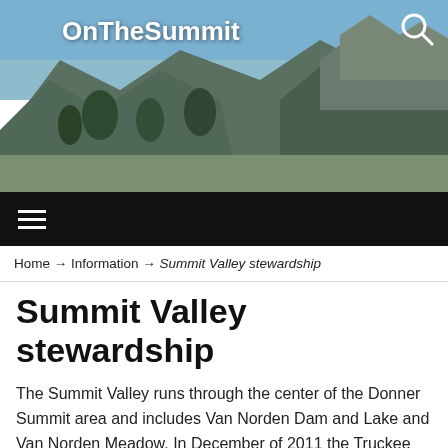[Figure (photo): Mountain landscape banner photo showing rocky peaks, evergreen trees, and blue sky. Site logo 'OnTheSummit' in white bold text at top left, search icon at top right.]
OnTheSummit
Home → Information → Summit Valley stewardship
Summit Valley stewardship
The Summit Valley runs through the center of the Donner Summit area and includes Van Norden Dam and Lake and Van Norden Meadow. In December of 2011 the Truckee Donner Land Trust (TDLT) acquired the land as part of their acquisition of the Royal Gorge ski resort properties. The stewardship of the Summit Valley is one of the first big challenges for the land trust. The Van Norden Dam has been declared out of compliance by the state of California